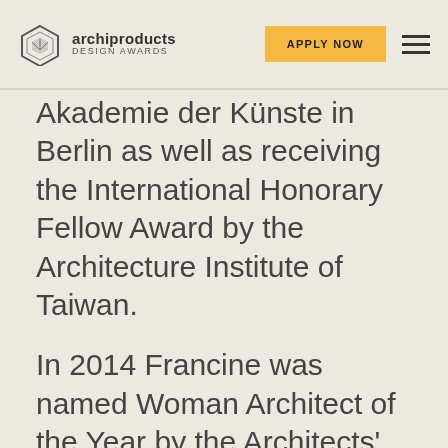archiproducts DESIGN AWARDS | APPLY NOW
Akademie der Künste in Berlin as well as receiving the International Honorary Fellow Award by the Architecture Institute of Taiwan.

In 2014 Francine was named Woman Architect of the Year by the Architects' Journal and in November 2015 Queen